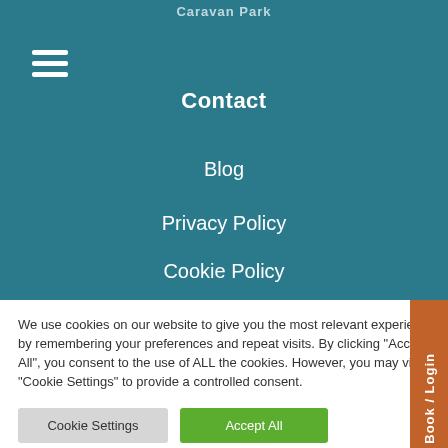Caravan Park
Contact
Blog
Privacy Policy
Cookie Policy
We use cookies on our website to give you the most relevant experience by remembering your preferences and repeat visits. By clicking “Accept All”, you consent to the use of ALL the cookies. However, you may visit "Cookie Settings" to provide a controlled consent.
Cookie Settings
Accept All
Book / Login